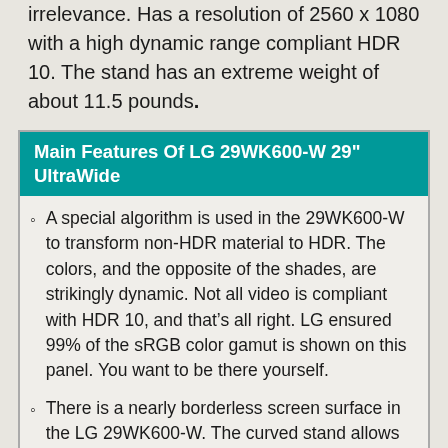irrelevance. Has a resolution of 2560 x 1080 with a high dynamic range compliant HDR 10. The stand has an extreme weight of about 11.5 pounds.
Main Features Of LG 29WK600-W 29" UltraWide
A special algorithm is used in the 29WK600-W to transform non-HDR material to HDR. The colors, and the opposite of the shades, are strikingly dynamic. Not all video is compliant with HDR 10, and that’s all right. LG ensured 99% of the sRGB color gamut is shown on this panel. You want to be there yourself.
There is a nearly borderless screen surface in the LG 29WK600-W. The curved stand allows very little desk space for the display. Thick bezels are distractive and disruptive to us, but